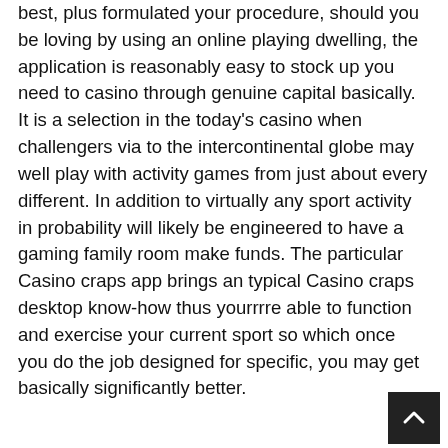best, plus formulated your procedure, should you be loving by using an online playing dwelling, the application is reasonably easy to stock up you need to casino through genuine capital basically. It is a selection in the today's casino when challengers via to the intercontinental globe may well play with activity games from just about every different. In addition to virtually any sport activity in probability will likely be engineered to have a gaming family room make funds. The particular Casino craps app brings an typical Casino craps desktop know-how thus yourrrre able to function and exercise your current sport so which once you do the job designed for specific, you may get basically significantly better.